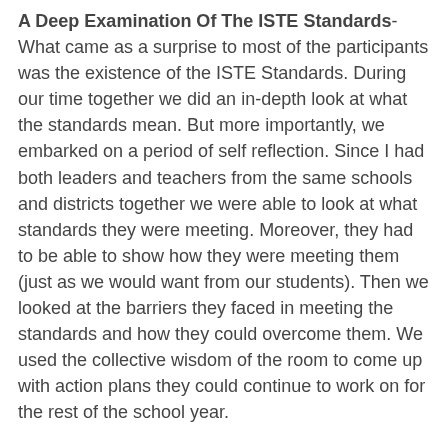A Deep Examination Of The ISTE Standards- What came as a surprise to most of the participants was the existence of the ISTE Standards. During our time together we did an in-depth look at what the standards mean. But more importantly, we embarked on a period of self reflection. Since I had both leaders and teachers from the same schools and districts together we were able to look at what standards they were meeting. Moreover, they had to be able to show how they were meeting them (just as we would want from our students). Then we looked at the barriers they faced in meeting the standards and how they could overcome them. We used the collective wisdom of the room to come up with action plans they could continue to work on for the rest of the school year.
Tech-Savvy Administrators and Tech-Savvy Teachers- One of the more important things I have found in my work with leaders and teachers and their ability to understand high quality technology use is if they aren't modeling effective use for their students or each other, it makes it difficult to know how to use it with students, or evaluate its use on a walkthrough. For leaders we looked at technology through